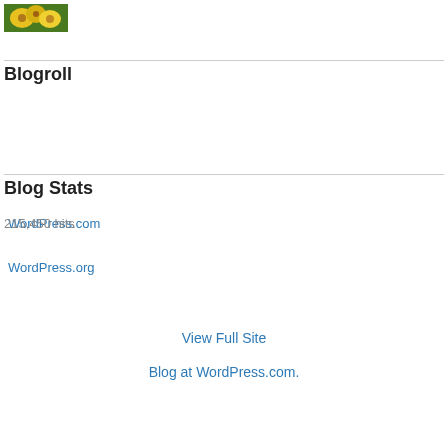[Figure (photo): Small thumbnail image of yellow flowers]
Blogroll
WordPress.com
WordPress.org
Blog Stats
215,450 hits
View Full Site
Blog at WordPress.com.